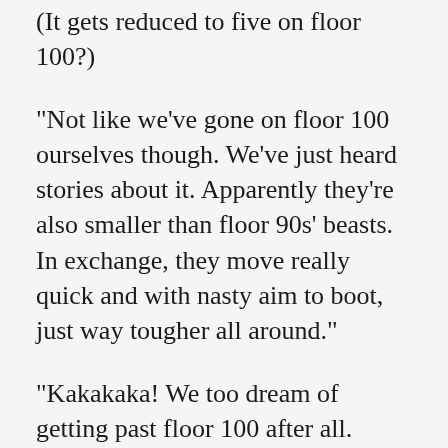(It gets reduced to five on floor 100?)
"Not like we've gone on floor 100 ourselves though. We've just heard stories about it. Apparently they're also smaller than floor 90s' beasts. In exchange, they move really quick and with nasty aim to boot, just way tougher all around."
"Kakakaka! We too dream of getting past floor 100 after all. We're not letting up on info gathering."
(I see.)
(They must have found something out.)